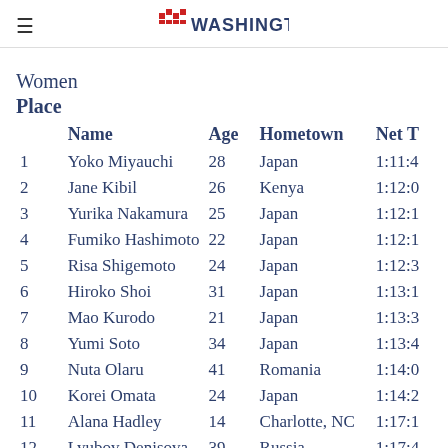RunWashington logo header
Women
Place
|  | Name | Age | Hometown | Net T |
| --- | --- | --- | --- | --- |
| 1 | Yoko Miyauchi | 28 | Japan | 1:11:4 |
| 2 | Jane Kibil | 26 | Kenya | 1:12:0 |
| 3 | Yurika Nakamura | 25 | Japan | 1:12:1 |
| 4 | Fumiko Hashimoto | 22 | Japan | 1:12:1 |
| 5 | Risa Shigemoto | 24 | Japan | 1:12:3 |
| 6 | Hiroko Shoi | 31 | Japan | 1:13:1 |
| 7 | Mao Kurodo | 21 | Japan | 1:13:3 |
| 8 | Yumi Soto | 34 | Japan | 1:13:4 |
| 9 | Nuta Olaru | 41 | Romania | 1:14:0 |
| 10 | Korei Omata | 24 | Japan | 1:14:2 |
| 11 | Alana Hadley | 14 | Charlotte, NC | 1:17:1 |
| 12 | Lyubov Denisova | 39 | Russia | 1:17:4 |
| 13 | Leah Thorvilson | 32 | Little Rock, AR | 1:17:5 |
| 14 | Lisa Thomas | 35 | Alexandria, VA | 1:19:0 |